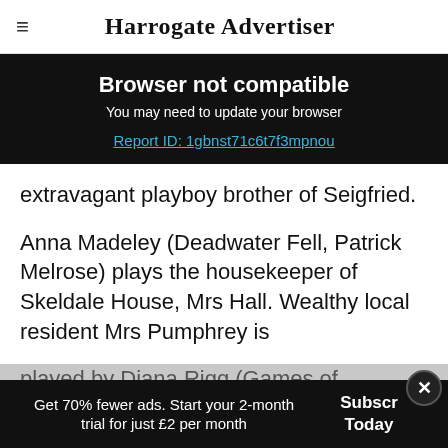Harrogate Advertiser
Browser not compatible
You may need to update your browser
Report ID: 1gbnst71c6t7f3mpnou
extravagant playboy brother of Seigfried.
Anna Madeley (Deadwater Fell, Patrick Melrose) plays the housekeeper of Skeldale House, Mrs Hall. Wealthy local resident Mrs Pumphrey is played by Diana Rigg (Games of Thrones, Detectorists).
Get 70% fewer ads. Start your 2-month trial for just £2 per month
Subscribe Today